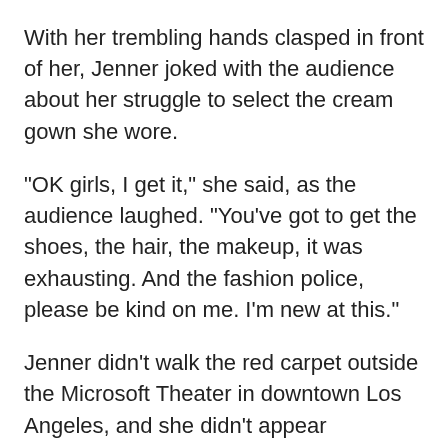With her trembling hands clasped in front of her, Jenner joked with the audience about her struggle to select the cream gown she wore.
"OK girls, I get it," she said, as the audience laughed. "You've got to get the shoes, the hair, the makeup, it was exhausting. And the fashion police, please be kind on me. I'm new at this."
Jenner didn't walk the red carpet outside the Microsoft Theater in downtown Los Angeles, and she didn't appear backstage to talk with reporters, as most of the previous Ashe award recipients have done. ESPN said Jenner wanted her onstage comments to stand.
Reaction among Jenner's sporting peers on the red carpet was mixed.